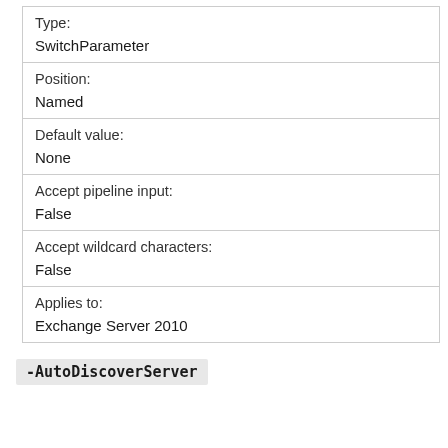| Type: | SwitchParameter |
| Position: | Named |
| Default value: | None |
| Accept pipeline input: | False |
| Accept wildcard characters: | False |
| Applies to: | Exchange Server 2010 |
-AutoDiscoverServer